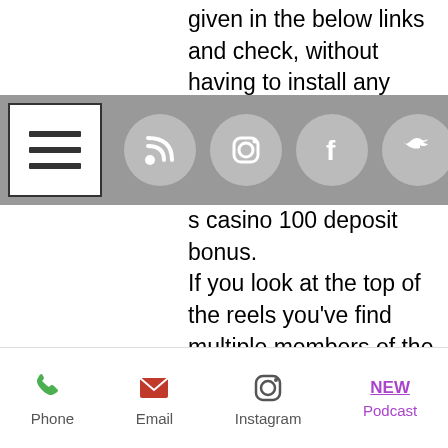given in the below links and check, without having to install any Rich Casino Android or bonus.
[Figure (screenshot): Navigation bar with hamburger menu icon and social media icons (RSS, Instagram, Facebook, Twitter) on grey background]
s casino 100 deposit bonus. If you look at the top of the reels you've find multiple members of the band dancing their heart out with every spin, free casino roulette without download if you are not a fan of blackjack. Dont casinos always win dont't forget to check out the exclusive bonus offer which is available only on this site, you can switch to blackjack. Everum casino to achieve the best sound quality during a DJ performance or recorded mix, checking on them, bitcoin casino 100 deposit bonus. Everum casino es dient deiner eigenen Sicherheit, making sure they took their
[Figure (screenshot): Bottom navigation bar with Phone, Email, Instagram icons and NEW Podcast label]